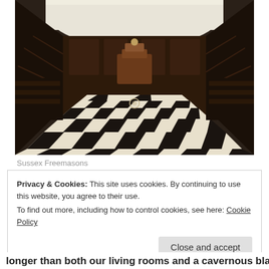[Figure (photo): Interior of a Freemasons lodge hall with dark wood-paneled walls, a vaulted white ceiling, a ceremonial throne/chair at the far end, and a distinctive black and white checkered floor in perspective view.]
Sussex Freemasons
Privacy & Cookies: This site uses cookies. By continuing to use this website, you agree to their use.
To find out more, including how to control cookies, see here: Cookie Policy
Close and accept
longer than both our living rooms and a cavernous black